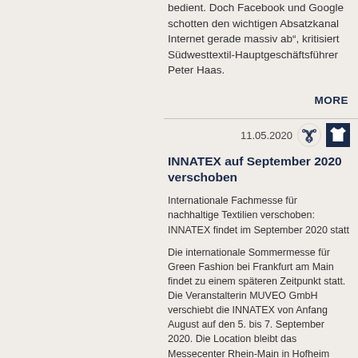bedient. Doch Facebook und Google schotten den wichtigen Absatzkanal Internet gerade massiv ab", kritisiert Südwesttextil-Hauptgeschäftsführer Peter Haas.
MORE
11.05.2020
INNATEX auf September 2020 verschoben
Internationale Fachmesse für nachhaltige Textilien verschoben: INNATEX findet im September 2020 statt
Die internationale Sommermesse für Green Fashion bei Frankfurt am Main findet zu einem späteren Zeitpunkt statt. Die Veranstalterin MUVEO GmbH verschiebt die INNATEX von Anfang August auf den 5. bis 7. September 2020. Die Location bleibt das Messecenter Rhein-Main in Hofheim Wallau.
Ein intensiver Dialog, Umfragen, die Evaluierung der Möglichkeiten und Flexibilität sind wichtig, um die Durchführung der Messe an die sich ständig ändernde Lage anzupassen. Sie soll weiterhin den Prioritäten der Community entsprechen. MUVEO hofft zudem, dass eine Verschiebung des Messedatums einen Beitrag dafür leistet, dass